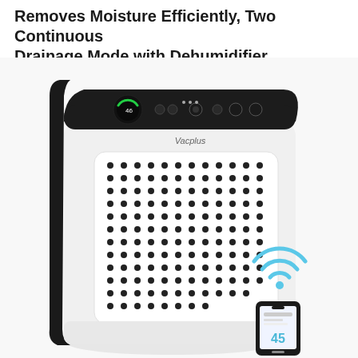Removes Moisture Efficiently, Two Continuous Drainage Mode with Dehumidifier
[Figure (photo): A Vacplus branded dehumidifier with black top panel featuring touch controls and a green circular display, white body with a perforated grille pattern. In the lower right corner: a WiFi signal icon and a smartphone showing the app interface with humidity reading.]